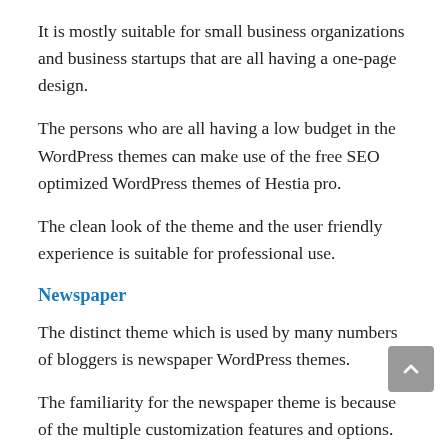It is mostly suitable for small business organizations and business startups that are all having a one-page design.
The persons who are all having a low budget in the WordPress themes can make use of the free SEO optimized WordPress themes of Hestia pro.
The clean look of the theme and the user friendly experience is suitable for professional use.
Newspaper
The distinct theme which is used by many numbers of bloggers is newspaper WordPress themes.
The familiarity for the newspaper theme is because of the multiple customization features and options.
You can use any type of blog that is fitted on the newspaper WordPress themes. It is having support from different types of social media.
Even the top search engine tools are supporting this type of